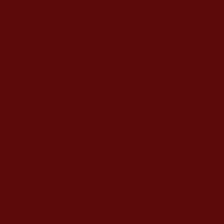Jeff Goldblum - OK I k... African American save... Goldblum says - 'they... And this is what is hap... are using our democra... Contrary to a theory th... is the Jews who are tr... A little research shows... Europe to mass immig... free speech. The mus... But the result is, that c... against us - big time. At the last election he... of a banana republic'.... time. In our system the... Asian areas and huge... We a... ti... weighted in favour of...